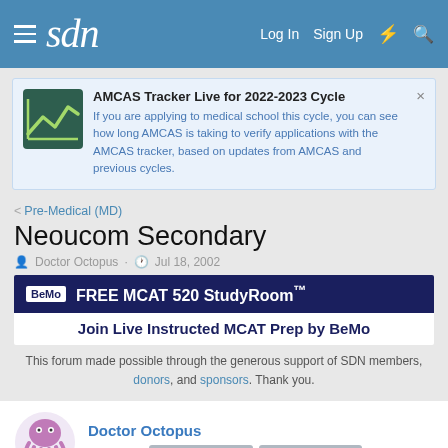sdn | Log In  Sign Up
AMCAS Tracker Live for 2022-2023 Cycle
If you are applying to medical school this cycle, you can see how long AMCAS is taking to verify applications with the AMCAS tracker, based on updates from AMCAS and previous cycles.
< Pre-Medical (MD)
Neoucom Secondary
Doctor Octopus · Jul 18, 2002
[Figure (screenshot): BeMo advertisement banner: FREE MCAT 520 StudyRoom™ / Join Live Instructed MCAT Prep by BeMo]
This forum made possible through the generous support of SDN members, donors, and sponsors. Thank you.
Doctor Octopus
Hospitalist  10+ Year Member  15+ Year Member